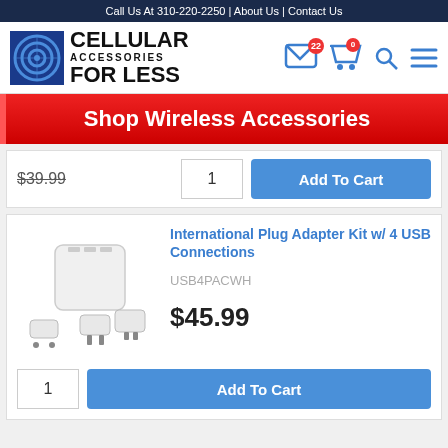Call Us At 310-220-2250 | About Us | Contact Us
[Figure (logo): Cellular Accessories For Less logo with circular signal icon]
Shop Wireless Accessories
$39.99
1  Add To Cart
International Plug Adapter Kit w/ 4 USB Connections
USB4PACWH
$45.99
1  Add To Cart